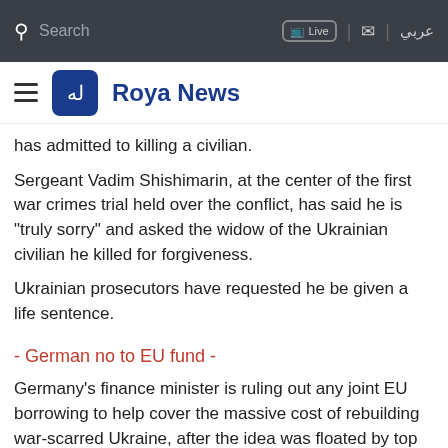Search | Live | [mail] | عربي
≡ Roya News
has admitted to killing a civilian.
Sergeant Vadim Shishimarin, at the center of the first war crimes trial held over the conflict, has said he is "truly sorry" and asked the widow of the Ukrainian civilian he killed for forgiveness.
Ukrainian prosecutors have requested he be given a life sentence.
- German no to EU fund -
Germany's finance minister is ruling out any joint EU borrowing to help cover the massive cost of rebuilding war-scarred Ukraine, after the idea was floated by top European officials.
After chairing G7 talks in Germany that saw countries